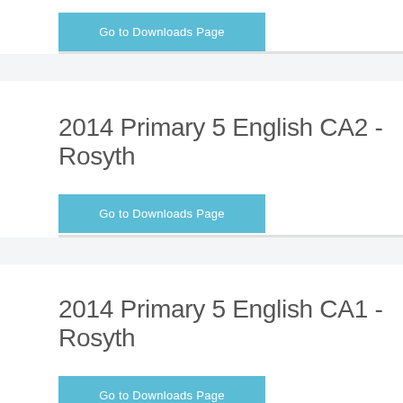Go to Downloads Page
2014 Primary 5 English CA2 - Rosyth
Go to Downloads Page
2014 Primary 5 English CA1 - Rosyth
Go to Downloads Page